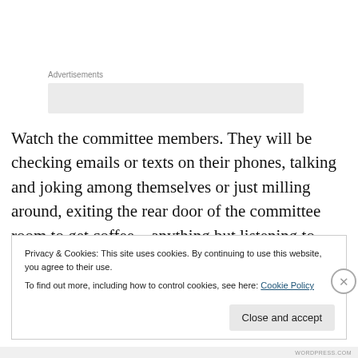Advertisements
[Figure (other): Grey advertisement placeholder box]
Watch the committee members. They will be checking emails or texts on their phones, talking and joking among themselves or just milling around, exiting the rear door of the committee room to get coffee—anything but listening to citizens' concerns. Only on the rarest of occasions could a committee member give you a summation of the
Privacy & Cookies: This site uses cookies. By continuing to use this website, you agree to their use.
To find out more, including how to control cookies, see here: Cookie Policy
Close and accept
WORDPRESS.COM